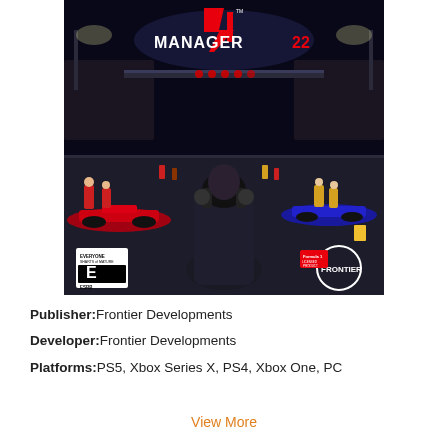[Figure (photo): F1 Manager 22 video game cover art showing a team manager from behind overlooking an F1 pit lane at night with Formula 1 cars, crowds, and stadium lights. Features the F1 Manager 22 logo in red and white at the top, ESRB E rating badge in bottom left, and Frontier Developments logo in bottom right.]
Publisher: Frontier Developments
Developer: Frontier Developments
Platforms: PS5, Xbox Series X, PS4, Xbox One, PC
View More